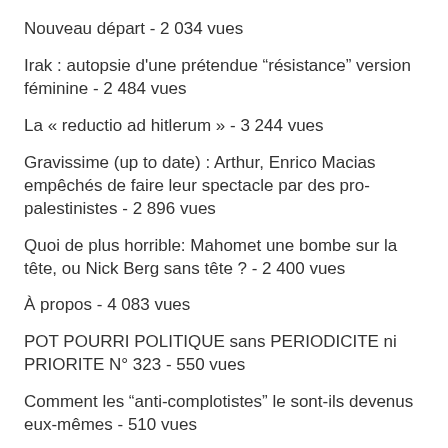Nouveau départ - 2 034 vues
Irak : autopsie d'une prétendue “résistance” version féminine - 2 484 vues
La « reductio ad hitlerum » - 3 244 vues
Gravissime (up to date) : Arthur, Enrico Macias empêchés de faire leur spectacle par des pro-palestinistes - 2 896 vues
Quoi de plus horrible: Mahomet une bombe sur la tête, ou Nick Berg sans tête ? - 2 400 vues
À propos - 4 083 vues
POT POURRI POLITIQUE sans PERIODICITE ni PRIORITE N° 323 - 550 vues
Comment les “anti-complotistes” le sont-ils devenus eux-mêmes - 510 vues